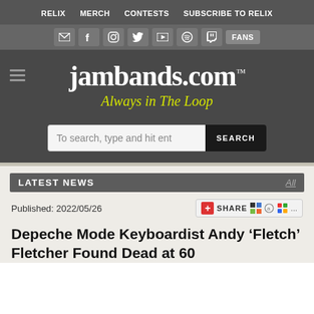RELIX  MERCH  CONTESTS  SUBSCRIBE TO RELIX
[Figure (screenshot): Social media icon bar with email, Facebook, Instagram, Twitter, YouTube, Spotify, Twitch icons and FANS button]
[Figure (logo): jambands.com logo with tagline 'Always in The Loop']
[Figure (screenshot): Search bar with placeholder 'To search, type and hit enter' and SEARCH button]
LATEST NEWS
Published: 2022/05/26
Depeche Mode Keyboardist Andy ‘Fletch’ Fletcher Found Dead at 60